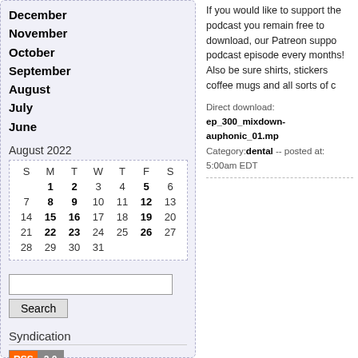December
November
October
September
August
July
June
| S | M | T | W | T | F | S |
| --- | --- | --- | --- | --- | --- | --- |
|  | 1 | 2 | 3 | 4 | 5 | 6 |
| 7 | 8 | 9 | 10 | 11 | 12 | 13 |
| 14 | 15 | 16 | 17 | 18 | 19 | 20 |
| 21 | 22 | 23 | 24 | 25 | 26 | 27 |
| 28 | 29 | 30 | 31 |  |  |  |
August 2022
Search
Syndication
[Figure (other): RSS 2.0 badge]
If you would like to support the podcast you remain free to download, our Patreon support podcast episode every months! Also be sure shirts, stickers coffee mugs and all sorts of c
Direct download: ep_300_mixdown-auphonic_01.mp Category:dental -- posted at: 5:00am EDT